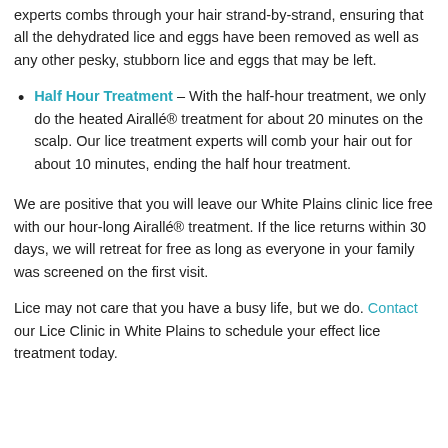experts combs through your hair strand-by-strand, ensuring that all the dehydrated lice and eggs have been removed as well as any other pesky, stubborn lice and eggs that may be left.
Half Hour Treatment – With the half-hour treatment, we only do the heated Airallé® treatment for about 20 minutes on the scalp. Our lice treatment experts will comb your hair out for about 10 minutes, ending the half hour treatment.
We are positive that you will leave our White Plains clinic lice free with our hour-long Airallé® treatment. If the lice returns within 30 days, we will retreat for free as long as everyone in your family was screened on the first visit.
Lice may not care that you have a busy life, but we do. Contact our Lice Clinic in White Plains to schedule your effect lice treatment today.